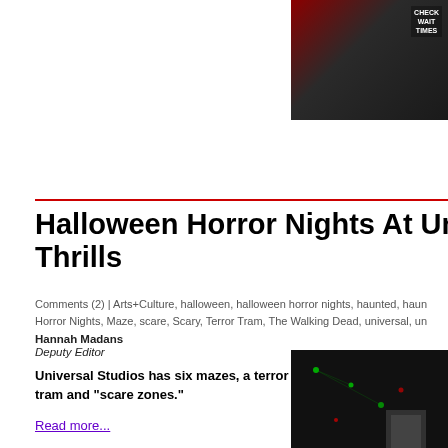[Figure (photo): Dark night-time photo with a sign reading CHECK WAIT TIMES visible in the upper right corner, against a dark background with foliage]
Halloween Horror Nights At Universal Studios Thrills
Comments (2) | Arts+Culture, halloween, halloween horror nights, haunted, haunt, Horror Nights, Maze, scare, Scary, Terror Tram, The Walking Dead, universal, un
Hannah Madans
Deputy Editor
Universal Studios has six mazes, a terror tram and "scare zones."
Read more...
[Figure (photo): Dark nighttime photo showing green laser lights and a person in white shirt in a dark environment]